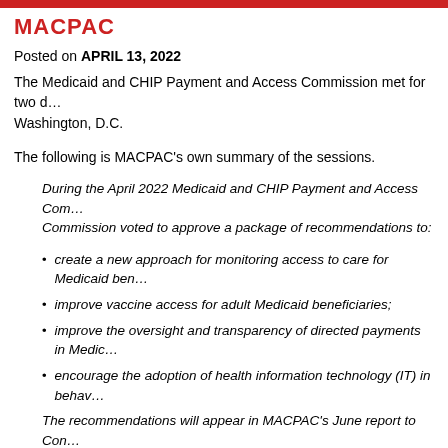MACPAC
Posted on APRIL 13, 2022
The Medicaid and CHIP Payment and Access Commission met for two days in Washington, D.C.
The following is MACPAC’s own summary of the sessions.
During the April 2022 Medicaid and CHIP Payment and Access Commission, the Commission voted to approve a package of recommendations to:
create a new approach for monitoring access to care for Medicaid beneficiaries;
improve vaccine access for adult Medicaid beneficiaries;
improve the oversight and transparency of directed payments in Medicaid;
encourage the adoption of health information technology (IT) in behavioral health;
The recommendations will appear in MACPAC’s June report to Congress.